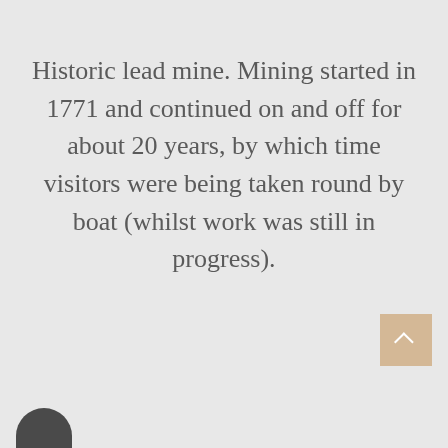Historic lead mine. Mining started in 1771 and continued on and off for about 20 years, by which time visitors were being taken round by boat (whilst work was still in progress).